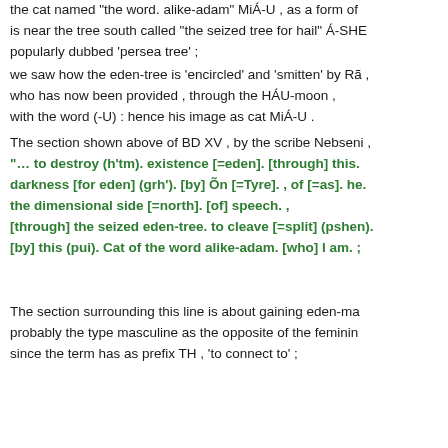the cat named "the word. alike-adam" MiÁ-U , as a form of
is near the tree south called "the seized tree for hail" Á-SHE
popularly dubbed 'persea tree' ;
we saw how the eden-tree is 'encircled' and 'smitten' by Rã ,
who has now been provided , through the HÁU-moon ,
with the word (-U) : hence his image as cat MiÁ-U .
The section shown above of BD XV , by the scribe Nebseni ,
"… to destroy (h'tm). existence [=eden]. [through] this.
darkness [for eden] (grh'). [by] Õn [=Tyre]. , of [=as]. he.
the dimensional side [=north]. [of] speech. ,
[through] the seized eden-tree. to cleave [=split] (pshen).
[by] this (pui). Cat of the word alike-adam. [who] I am. ;
The section surrounding this line is about gaining eden-ma
probably the type masculine as the opposite of the feminin
since the term has as prefix TH , 'to connect to' ;